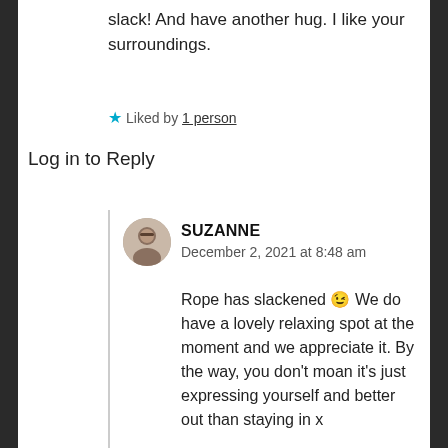slack! And have another hug. I like your surroundings.
★ Liked by 1 person
Log in to Reply
SUZANNE
December 2, 2021 at 8:48 am
Rope has slackened 😉 We do have a lovely relaxing spot at the moment and we appreciate it. By the way, you don't moan it's just expressing yourself and better out than staying in x